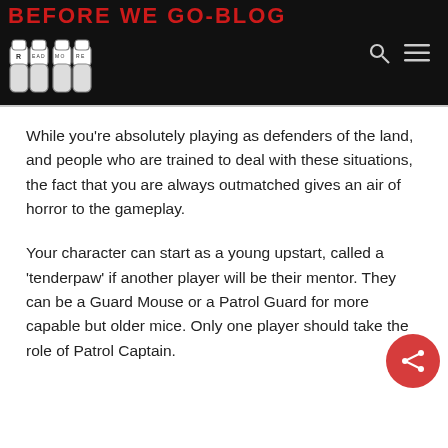BEFORE WE GO BLOG
While you’re absolutely playing as defenders of the land, and people who are trained to deal with these situations, the fact that you are always outmatched gives an air of horror to the gameplay.
Your character can start as a young upstart, called a ‘tenderpaw’ if another player will be their mentor. They can be a Guard Mouse or a Patrol Guard for more capable but older mice. Only one player should take the role of Patrol Captain.